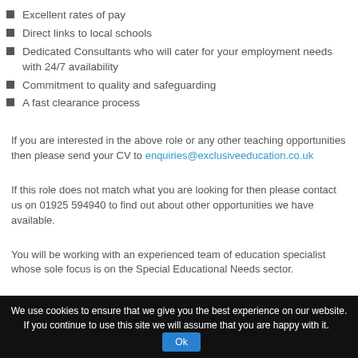Excellent rates of pay
Direct links to local schools
Dedicated Consultants who will cater for your employment needs with 24/7 availability
Commitment to quality and safeguarding
A fast clearance process
If you are interested in the above role or any other teaching opportunities then please send your CV to enquiries@exclusiveeducation.co.uk
If this role does not match what you are looking for then please contact us on 01925 594940 to find out about other opportunities we have available.
You will be working with an experienced team of education specialist whose sole focus is on the Special Educational Needs sector.
If you know of any other Teachers, Teaching Assistant or Cover Supervisors seeking work within the North West then please send on their details to Exclusive Education to earn £50 worth of vouchers*
We use cookies to ensure that we give you the best experience on our website. If you continue to use this site we will assume that you are happy with it. Ok